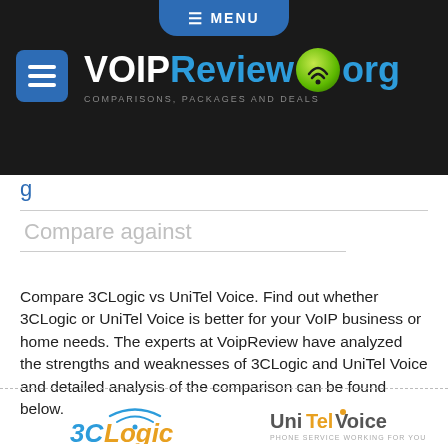VOIPReview.org — COMPARISONS, PACKAGES AND DEALS
Compare against
Compare 3CLogic vs UniTel Voice. Find out whether 3CLogic or UniTel Voice is better for your VoIP business or home needs. The experts at VoipReview have analyzed the strengths and weaknesses of 3CLogic and UniTel Voice and detailed analysis of the comparison can be found below.
[Figure (logo): 3CLogic logo]
[Figure (logo): UniTel Voice logo]